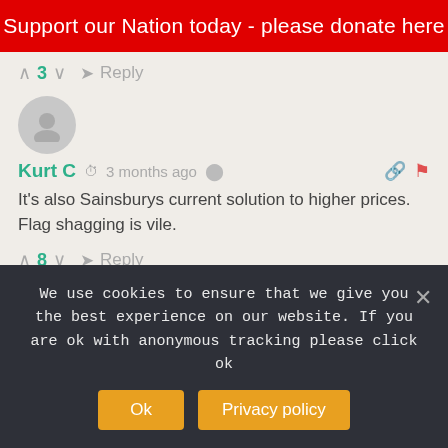Support our Nation today - please donate here
▲ 3 ▼  ↳ Reply
[Figure (other): User avatar placeholder circle for Kurt C]
Kurt C  🕐 3 months ago  ⬡  [share icon]  [link icon]  [flag icon]
It's also Sainsburys current solution to higher prices. Flag shagging is vile.
▲ 8 ▼  ↳ Reply
[Figure (other): User avatar placeholder circle for Kerry Davies]
Kerry Davies  🕐 3 months ago  [share icon]  [link icon]  [flag icon]
We use cookies to ensure that we give you the best experience on our website. If you are ok with anonymous tracking please click ok
Ok  Privacy policy